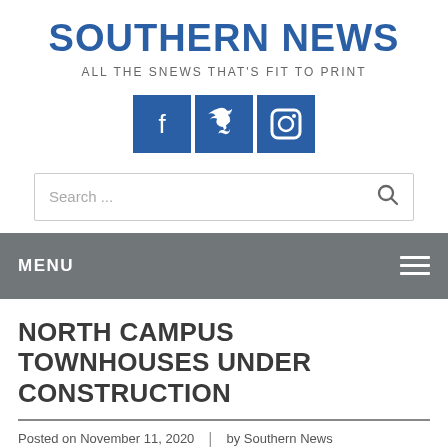SOUTHERN NEWS
ALL THE SNEWS THAT'S FIT TO PRINT
[Figure (infographic): Three blue square social media icon buttons: Facebook, Twitter, Instagram]
Search ...
MENU
NORTH CAMPUS TOWNHOUSES UNDER CONSTRUCTION
Posted on November 11, 2020  |  by Southern News